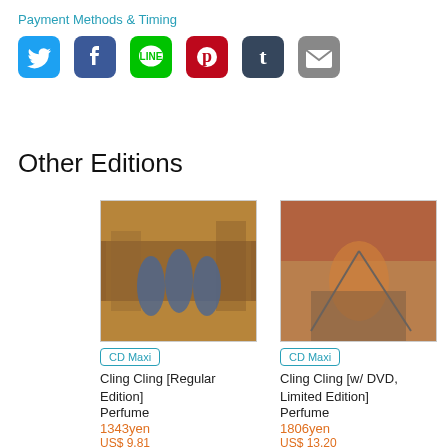Payment Methods & Timing
[Figure (illustration): Row of social media sharing icons: Twitter (blue bird), Facebook (blue f), LINE (green chat), Pinterest (red P), Tumblr (dark blue t), Email (grey envelope)]
Other Editions
[Figure (photo): Album cover thumbnail for Cling Cling Regular Edition by Perfume - three women in blue dresses in a colorful scene]
CD Maxi
Cling Cling [Regular Edition]
Perfume
1343yen
US$ 9.81
[Figure (photo): Album cover thumbnail for Cling Cling w/ DVD Limited Edition by Perfume - performer in colorful costume]
CD Maxi
Cling Cling [w/ DVD, Limited Edition]
Perfume
1806yen
US$ 13.20